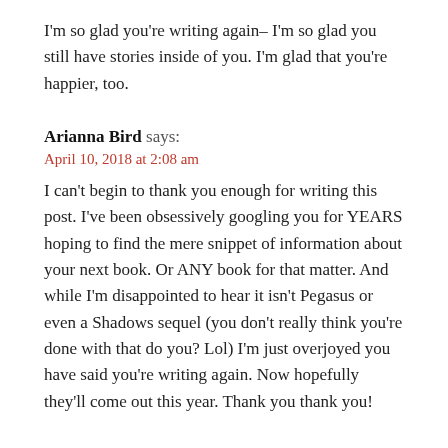I'm so glad you're writing again– I'm so glad you still have stories inside of you. I'm glad that you're happier, too.
Arianna Bird says:
April 10, 2018 at 2:08 am
I can't begin to thank you enough for writing this post. I've been obsessively googling you for YEARS hoping to find the mere snippet of information about your next book. Or ANY book for that matter. And while I'm disappointed to hear it isn't Pegasus or even a Shadows sequel (you don't really think you're done with that do you? Lol) I'm just overjoyed you have said you're writing again. Now hopefully they'll come out this year. Thank you thank you!
Joanna Compton-Mys says: